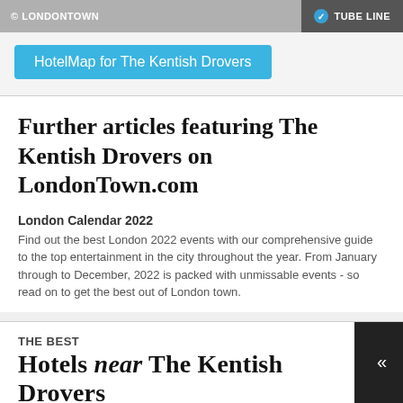© LONDONTOWN   ✓ TUBE LINE
HotelMap for The Kentish Drovers
Further articles featuring The Kentish Drovers on LondonTown.com
London Calendar 2022
Find out the best London 2022 events with our comprehensive guide to the top entertainment in the city throughout the year. From January through to December, 2022 is packed with unmissable events - so read on to get the best out of London town.
THE BEST
Hotels near The Kentish Drovers
Near The Kentish Drovers